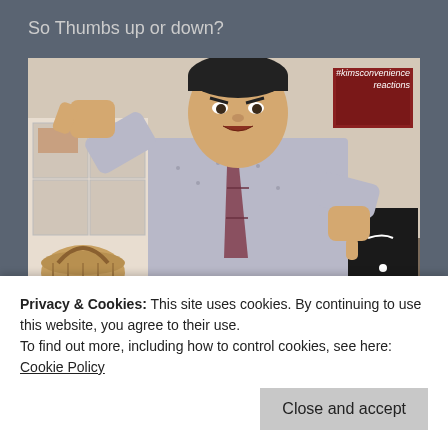So Thumbs up or down?
[Figure (photo): A man wearing a patterned shirt and striped tie giving two thumbs down gesture, with a room background. Watermark text: #kimsconvenience reactions]
And tomorrow we talk about religion. Just kidding, not
Privacy & Cookies: This site uses cookies. By continuing to use this website, you agree to their use.
To find out more, including how to control cookies, see here: Cookie Policy
Close and accept